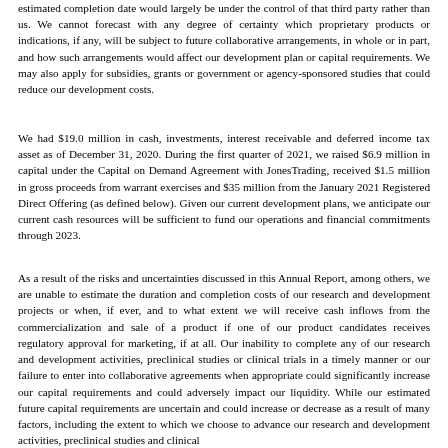estimated completion date would largely be under the control of that third party rather than us. We cannot forecast with any degree of certainty which proprietary products or indications, if any, will be subject to future collaborative arrangements, in whole or in part, and how such arrangements would affect our development plan or capital requirements. We may also apply for subsidies, grants or government or agency-sponsored studies that could reduce our development costs.
We had $19.0 million in cash, investments, interest receivable and deferred income tax asset as of December 31, 2020. During the first quarter of 2021, we raised $6.9 million in capital under the Capital on Demand Agreement with JonesTrading, received $1.5 million in gross proceeds from warrant exercises and $35 million from the January 2021 Registered Direct Offering (as defined below). Given our current development plans, we anticipate our current cash resources will be sufficient to fund our operations and financial commitments through 2023.
As a result of the risks and uncertainties discussed in this Annual Report, among others, we are unable to estimate the duration and completion costs of our research and development projects or when, if ever, and to what extent we will receive cash inflows from the commercialization and sale of a product if one of our product candidates receives regulatory approval for marketing, if at all. Our inability to complete any of our research and development activities, preclinical studies or clinical trials in a timely manner or our failure to enter into collaborative agreements when appropriate could significantly increase our capital requirements and could adversely impact our liquidity. While our estimated future capital requirements are uncertain and could increase or decrease as a result of many factors, including the extent to which we choose to advance our research and development activities, preclinical studies and clinical